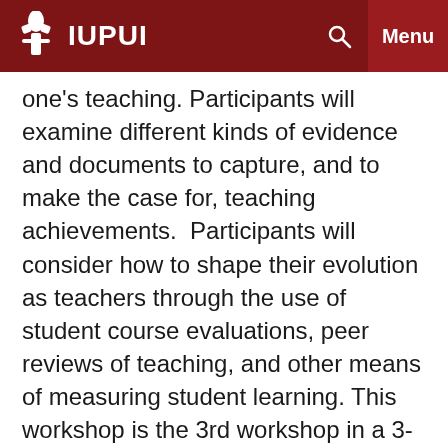IUPUI
one's teaching. Participants will examine different kinds of evidence and documents to capture, and to make the case for, teaching achievements. Participants will consider how to shape their evolution as teachers through the use of student course evaluations, peer reviews of teaching, and other means of measuring student learning. This workshop is the 3rd workshop in a 3-workshop series designed to introduce faculty and graduate students to the process of creating, refining and documenting one's teaching practices.